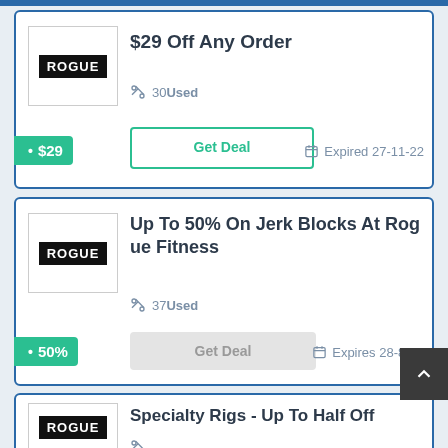[Figure (other): Coupon card 1: Rogue logo, $29 Off Any Order, 30 Used, Get Deal button, Expired 27-11-22]
[Figure (other): Coupon card 2: Rogue logo, Up To 50% On Jerk Blocks At Rogue Fitness, 37 Used, Get Deal button (greyed out), Expires 28-8-22]
[Figure (other): Coupon card 3 (partial): Rogue logo, Specialty Rigs - Up To Half Off, partially visible]